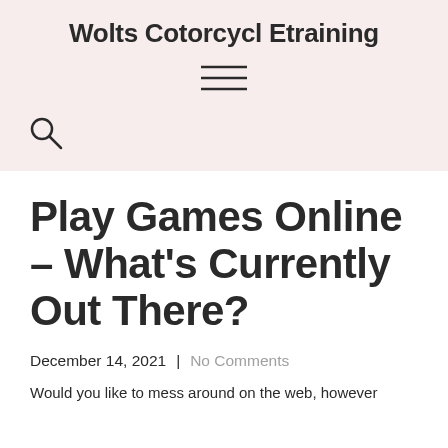Wolts Cotorcycl Etraining
[Figure (other): Hamburger menu icon (three horizontal lines)]
[Figure (other): Search magnifying glass icon]
Play Games Online – What's Currently Out There?
December 14, 2021  |  No Comments
Would you like to mess around on the web, however